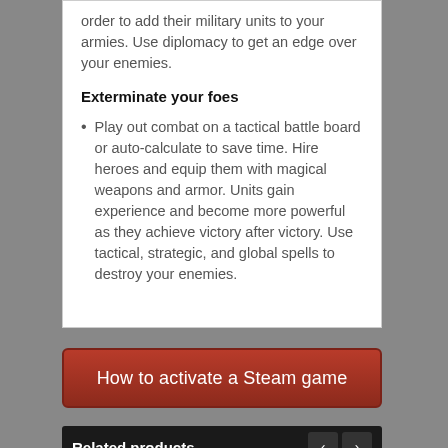order to add their military units to your armies. Use diplomacy to get an edge over your enemies.
Exterminate your foes
Play out combat on a tactical battle board or auto-calculate to save time. Hire heroes and equip them with magical weapons and armor. Units gain experience and become more powerful as they achieve victory after victory. Use tactical, strategic, and global spells to destroy your enemies.
[Figure (other): Red button labeled 'How to activate a Steam game']
Related products